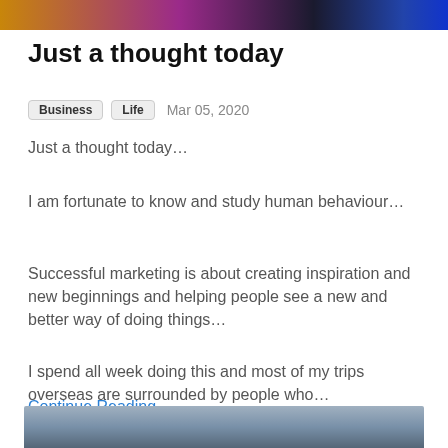[Figure (photo): Cropped top portion of a colorful image with orange, purple, dark and blue hues]
Just a thought today
Business   Life   Mar 05, 2020
Just a thought today…
I am fortunate to know and study human behaviour…
Successful marketing is about creating inspiration and new beginnings and helping people see a new and better way of doing things…
I spend all week doing this and most of my trips overseas are surrounded by people who…
Continue Reading…
[Figure (photo): Partial bottom image showing a cloudy sky, blue-grey tones]